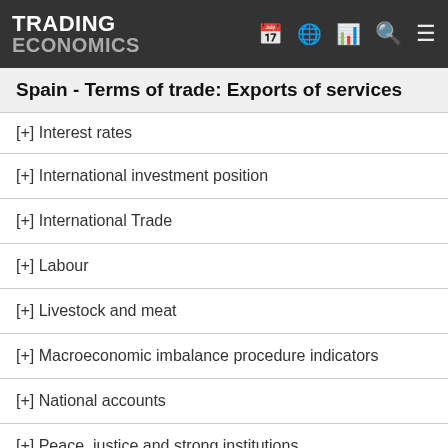TRADING ECONOMICS
Spain - Terms of trade: Exports of services
[+] Interest rates
[+] International investment position
[+] International Trade
[+] Labour
[+] Livestock and meat
[+] Macroeconomic imbalance procedure indicators
[+] National accounts
[+] Peace, justice and strong institutions
[+] Population